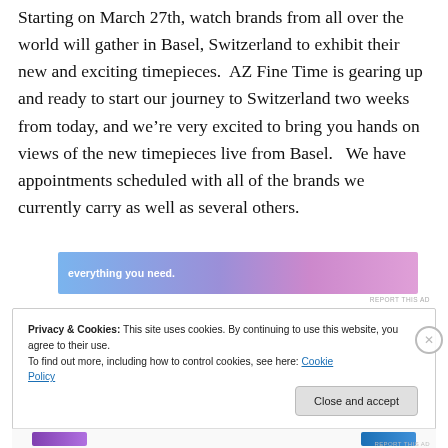Starting on March 27th, watch brands from all over the world will gather in Basel, Switzerland to exhibit their new and exciting timepieces.  AZ Fine Time is gearing up and ready to start our journey to Switzerland two weeks from today, and we're very excited to bring you hands on views of the new timepieces live from Basel.   We have appointments scheduled with all of the brands we currently carry as well as several others.
[Figure (other): Advertisement banner with gradient background (blue to purple to pink) showing text 'everything you need.' with a logo partially visible on the right side.]
REPORT THIS AD
Privacy & Cookies: This site uses cookies. By continuing to use this website, you agree to their use.
To find out more, including how to control cookies, see here: Cookie Policy
Close and accept